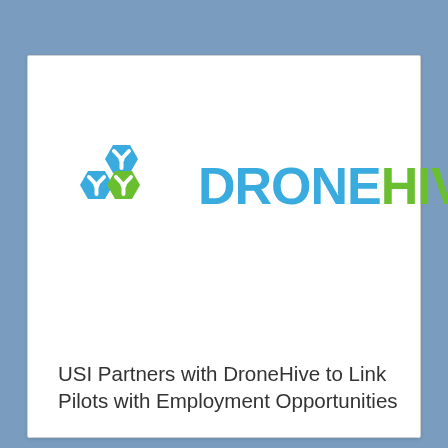[Figure (logo): DroneHive logo: three hexagonal drone icons in blue and green on the left, followed by the text DRONEHIVE with DRONE in blue and HIVE in green]
USI Partners with DroneHive to Link Pilots with Employment Opportunities